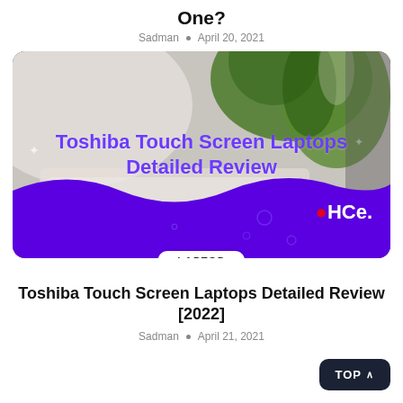One?
Sadman • April 20, 2021
[Figure (illustration): Promotional card image for Toshiba Touch Screen Laptops Detailed Review article, showing a blurred laptop and plant background with purple overlay text and wave design, HCE logo, LAPTOP category badge]
Toshiba Touch Screen Laptops Detailed Review [2022]
Sadman • April 21, 2021